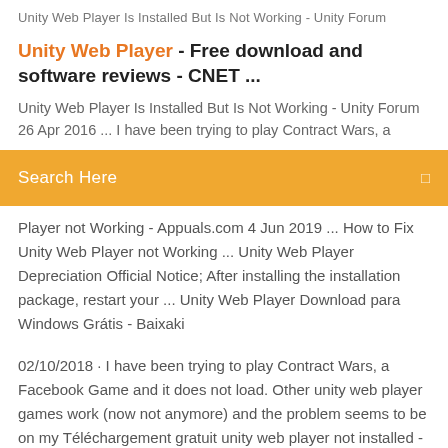Unity Web Player Is Installed But Is Not Working - Unity Forum
Unity Web Player - Free download and software reviews - CNET ...
Unity Web Player Is Installed But Is Not Working - Unity Forum 26 Apr 2016 ... I have been trying to play Contract Wars, a
Search Here
Player not Working - Appuals.com 4 Jun 2019 ... How to Fix Unity Web Player not Working ... Unity Web Player Depreciation Official Notice; After installing the installation package, restart your ... Unity Web Player Download para Windows Grátis - Baixaki
02/10/2018 · I have been trying to play Contract Wars, a Facebook Game and it does not load. Other unity web player games work (now not anymore) and the problem seems to be on my Téléchargement gratuit unity web player not installed -